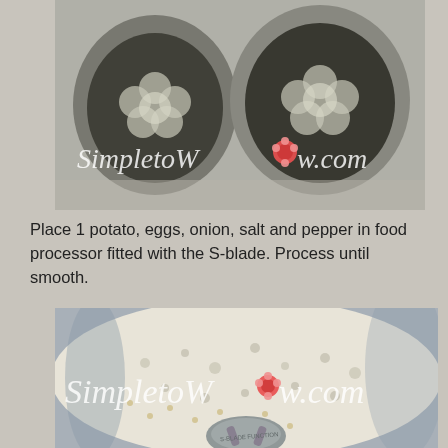[Figure (photo): Two ceramic muffin/popover molds viewed from above, dark food visible inside them, with watermark 'SimpletoWow.com' overlaid in white italic text with a red flower dot replacing the 'o' in Wow]
Place 1 potato, eggs, onion, salt and pepper in food processor fitted with the S-blade. Process until smooth.
[Figure (photo): A food processor bowl from above showing a smooth creamy/white liquid batter with air bubbles, with the S-blade visible at the bottom, and watermark 'SimpletoWow.com' overlaid in white italic text with a red flower dot replacing the 'o' in Wow]